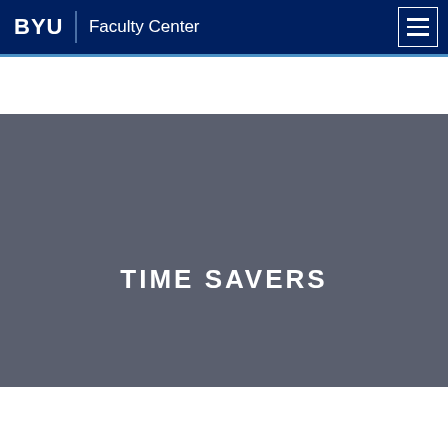BYU Faculty Center
TIME SAVERS